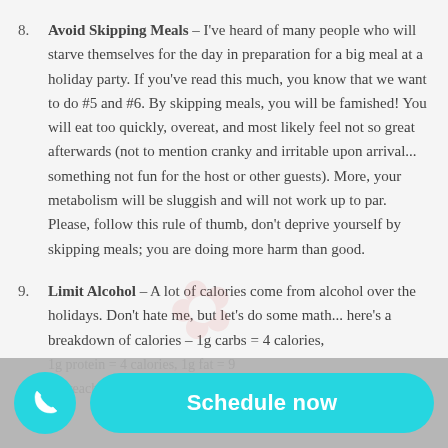8. Avoid Skipping Meals – I've heard of many people who will starve themselves for the day in preparation for a big meal at a holiday party. If you've read this much, you know that we want to do #5 and #6. By skipping meals, you will be famished! You will eat too quickly, overeat, and most likely feel not so great afterwards (not to mention cranky and irritable upon arrival... something not fun for the host or other guests). More, your metabolism will be sluggish and will not work up to par. Please, follow this rule of thumb, don't deprive yourself by skipping meals; you are doing more harm than good.
9. Limit Alcohol – A lot of calories come from alcohol over the holidays. Don't hate me, but let's do some math... here's a breakdown of calories – 1g carbs = 4 calories, 1g protein = 4 calories, 1g fat = 9 calories, 1g alcohol = 7 calories... and alcohol is why we reach for our next brandy eggnog.